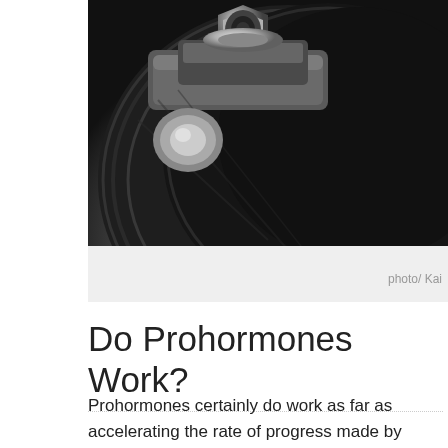[Figure (photo): Close-up black and white photo of a dumbbell weight plate and collar, showing metal and rubber weight plates stacked together.]
photo/ Kai
Do Prohormones Work?
Prohormones certainly do work as far as accelerating the rate of progress made by fitness enthusiasts, elite athletes, powerlifters, and bodybuilders is concerned, both in terms